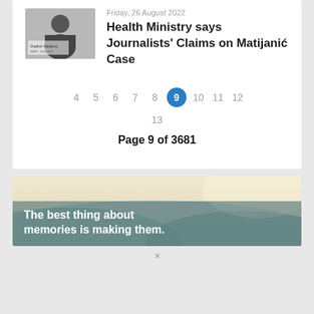[Figure (photo): Black and white portrait photo of Vladimir Matijanić with text overlay]
Friday, 26 August 2022
Health Ministry says Journalists' Claims on Matijanić Case
4 5 6 7 8 9 10 11 12 13
Page 9 of 3681
[Figure (photo): Advertisement banner with mountain/landscape image and text: The best thing about memories is making them.]